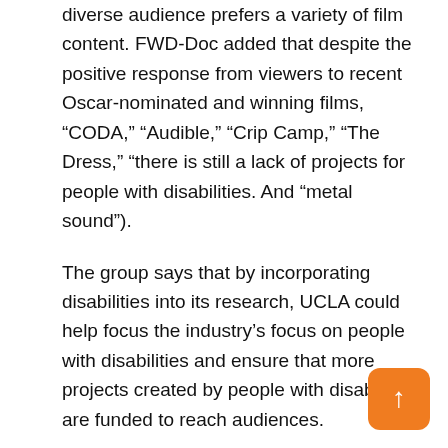diverse audience prefers a variety of film content. FWD-Doc added that despite the positive response from viewers to recent Oscar-nominated and winning films, “CODA,” “Audible,” “Crip Camp,” “The Dress,” “there is still a lack of projects for people with disabilities. And “metal sound”).
The group says that by incorporating disabilities into its research, UCLA could help focus the industry’s focus on people with disabilities and ensure that more projects created by people with disabilities are funded to reach audiences.
FWD-Doc (Filmmakers with Disabilities) is a group of disabled and active collaborators. The company seeks to increase the visibility, support and direct access to network, and employment opportunities